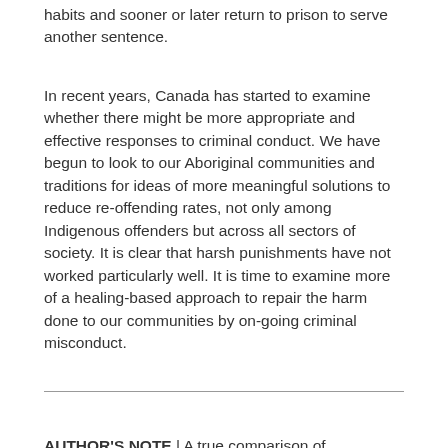habits and sooner or later return to prison to serve another sentence.
In recent years, Canada has started to examine whether there might be more appropriate and effective responses to criminal conduct. We have begun to look to our Aboriginal communities and traditions for ideas of more meaningful solutions to reduce re-offending rates, not only among Indigenous offenders but across all sectors of society. It is clear that harsh punishments have not worked particularly well. It is time to examine more of a healing-based approach to repair the harm done to our communities by on-going criminal misconduct.
AUTHOR'S NOTE | A true comparison of correctional systems around the world would take many more